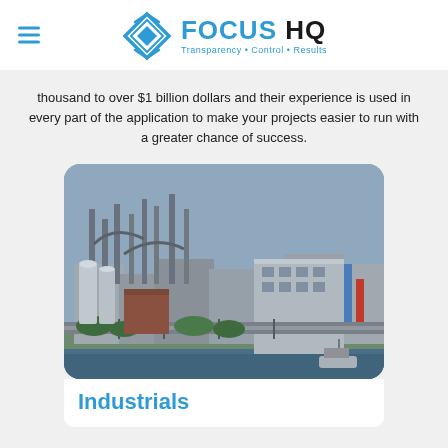FOCUS HQ — Transparency • Control • Results
thousand to over $1 billion dollars and their experience is used in every part of the application to make your projects easier to run with a greater chance of success.
[Figure (photo): Aerial view of a large industrial facility with processing towers, pipes, and buildings near a waterway with a boat.]
Industrials